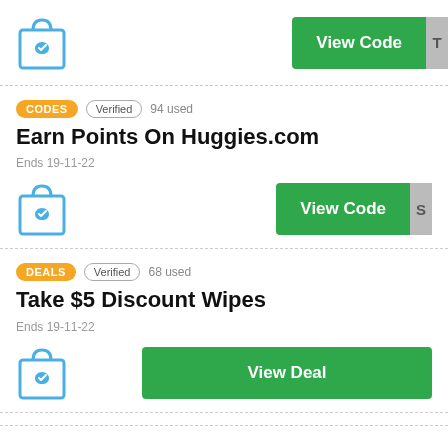[Figure (illustration): Partial view of a coupon card showing a shopping bag icon with heart and a 'View Code' green button with 'T' visible at right edge]
CODES  Verified  94 used
Earn Points On Huggies.com
Ends 19-11-22
DEALS  Verified  68 used
Take $5 Discount Wipes
Ends 19-11-22